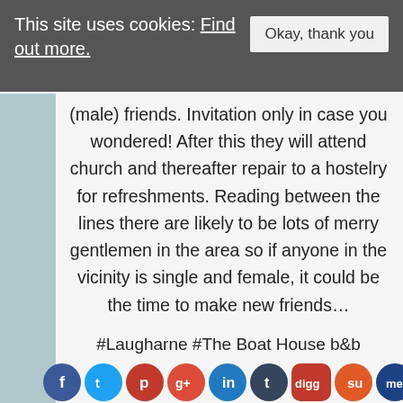This site uses cookies: Find out more. | Okay, thank you
(male) friends. Invitation only in case you wondered! After this they will attend church and thereafter repair to a hostelry for refreshments. Reading between the lines there are likely to be lots of merry gentlemen in the area so if anyone in the vicinity is single and female, it could be the time to make new friends…
#Laugharne #The Boat House b&b
[Figure (infographic): Row of social media icons: Facebook, Twitter, Pinterest, Google+, LinkedIn, Tumblr, Digg, StumbleUpon, MeWe]